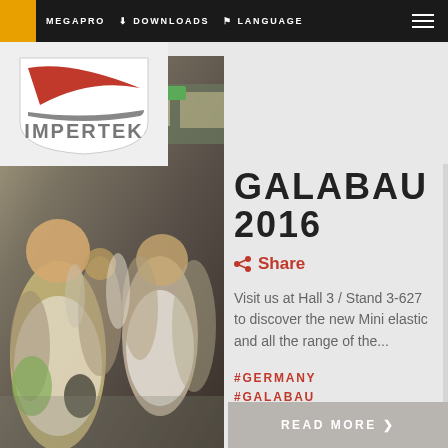MEGAPRO  DOWNLOADS  LANGUAGE
[Figure (logo): Impertek company logo: white shield shape with red wing/swoosh and grey bar at bottom, 'IMPERTEK' text in grey]
GALABAU 2016
Share
Visit us at Hall 3 / Stand 3-627 to discover the new Mini elastic and all the range of the...
#GERMANY
#GALABAU
[Figure (photo): Crowded trade fair hall with people walking, blurred background showing exhibition booths and green banners]
READ MORE